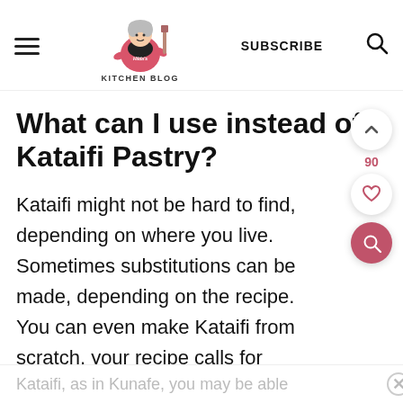Hilda's Kitchen Blog — SUBSCRIBE
What can I use instead of Kataifi Pastry?
Kataifi might not be hard to find, depending on where you live. Sometimes substitutions can be made, depending on the recipe. You can even make Kataifi from scratch. your recipe calls for shredding the
Kataifi, as in Kunafe, you may be able